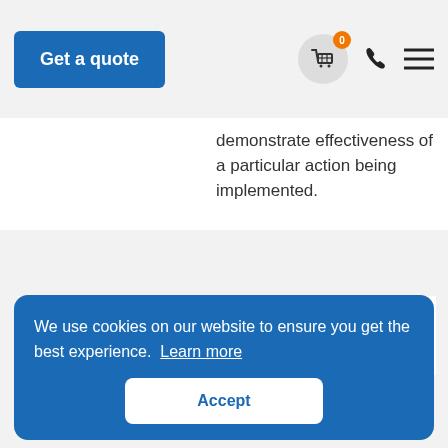Get a quote
demonstrate effectiveness of a particular action being implemented.
The above information is not exhaustive, but indicative. However, the actual evidence will vary due to the context of the organization and their activities.
We use cookies on our website to ensure you get the best experience. Learn more
Accept